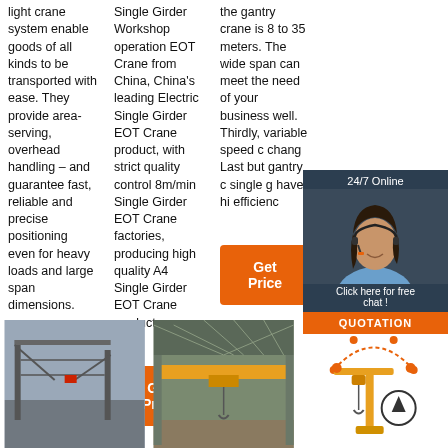light crane system enable goods of all kinds to be transported with ease. They provide area-serving, overhead handling – and guarantee fast, reliable and precise positioning even for heavy loads and large span dimensions.
Single Girder Workshop operation EOT Crane from China, China's leading Electric Single Girder EOT Crane product, with strict quality control 8m/min Single Girder EOT Crane factories, producing high quality A4 Single Girder EOT Crane products.
the gantry crane is 8 to 35 meters. The wide span can meet the need of your business well. Thirdly, variable speed c chang Last but gantry c single g have hi efficienc
[Figure (screenshot): 24/7 Online chat widget with a female customer service representative. Contains 'Click here for free chat!' text and an orange 'QUOTATION' button.]
[Figure (photo): Outdoor photo of a large gantry/bridge crane structure against a grey sky.]
[Figure (photo): Indoor photo of an overhead EOT crane in a workshop/factory building with yellow crane beam.]
[Figure (illustration): Diagram/illustration of a jib crane or small gantry crane in yellow with orange dotted arc indicating rotation range and an upward arrow in a circle.]